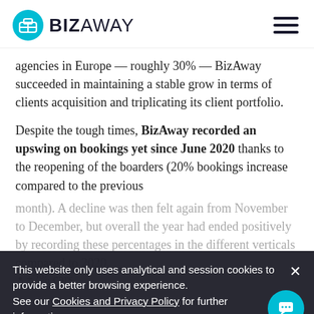BizAway
agencies in Europe — roughly 30% — BizAway succeeded in maintaining a stable grow in terms of clients acquisition and triplicating its client portfolio.
Despite the tough times, BizAway recorded an upswing on bookings yet since June 2020 thanks to the reopening of the boarders (20% bookings increase compared to the previous month). A decline was then felt again from November to December, but overall the year had ended positively by recording these percentages in the different verticals compared to 2020.
+2% cars